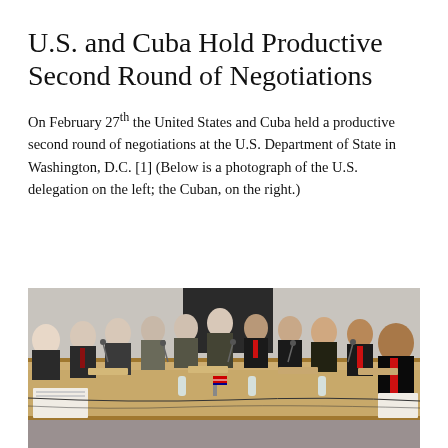U.S. and Cuba Hold Productive Second Round of Negotiations
On February 27th the United States and Cuba held a productive second round of negotiations at the U.S. Department of State in Washington, D.C. [1] (Below is a photograph of the U.S. delegation on the left; the Cuban, on the right.)
[Figure (photo): A conference room photograph showing two delegations seated at a long wooden table facing each other. The U.S. delegation is on the left side wearing dark suits; the Cuban delegation is on the right side, some wearing red ties. Microphones, nameplates, papers, and water bottles are visible on the table. The room has neutral grey walls and overhead lighting.]